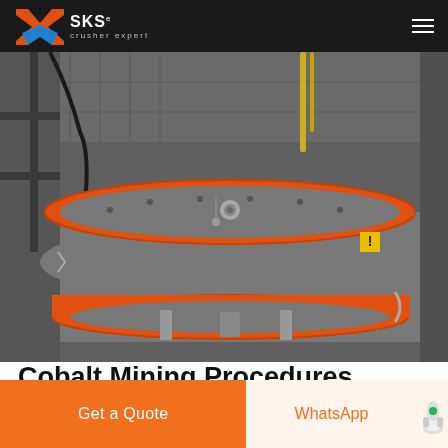SKS crusher expert
[Figure (photo): Close-up overhead view of a large industrial cone crusher with a grey metal body and orange/red circular rings, mounted in a facility with steel framework visible.]
Cobalt Mining Procedures smmicozaHow Can Zambia Benefit
Get a Quote
WhatsApp